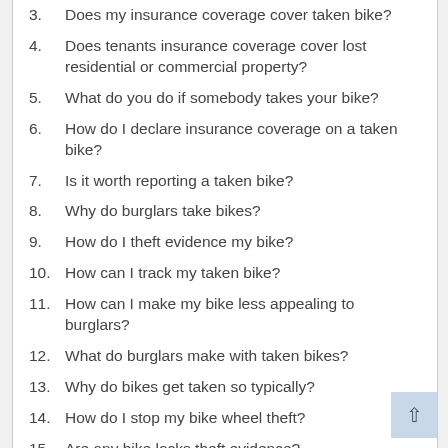3.  Does my insurance coverage cover taken bike?
4.  Does tenants insurance coverage cover lost residential or commercial property?
5.  What do you do if somebody takes your bike?
6.  How do I declare insurance coverage on a taken bike?
7.  Is it worth reporting a taken bike?
8.  Why do burglars take bikes?
9.  How do I theft evidence my bike?
10.  How can I track my taken bike?
11.  How can I make my bike less appealing to burglars?
12.  What do burglars make with taken bikes?
13.  Why do bikes get taken so typically?
14.  How do I stop my bike wheel theft?
15.  Are any bike locks theft evidence?